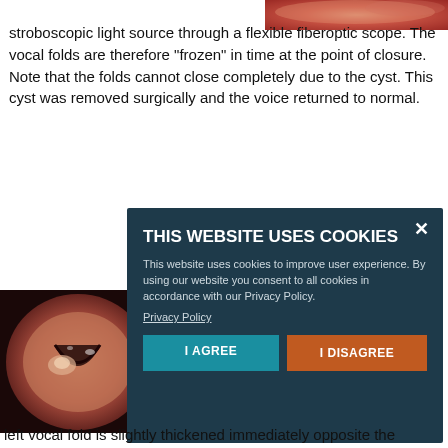[Figure (photo): Partial view of a medical endoscopic image at top right, showing reddish/pink tissue]
stroboscopic light source through a flexible fiberoptic scope. The vocal folds are therefore "frozen" in time at the point of closure. Note that the folds cannot close completely due to the cyst. This cyst was removed surgically and the voice returned to normal.
[Figure (photo): Endoscopic view of larynx/vocal folds showing a cyst on the left vocal fold, with pinkish-red tissue and a visible opening between the folds]
[Figure (screenshot): Cookie consent overlay dialog with dark teal background. Title: THIS WEBSITE USES COOKIES. Body: This website uses cookies to improve user experience. By using our website you consent to all cookies in accordance with our Privacy Policy. Privacy Policy link. Two buttons: I AGREE (teal) and I DISAGREE (orange).]
left vocal fold is slightly thickened immediately opposite the